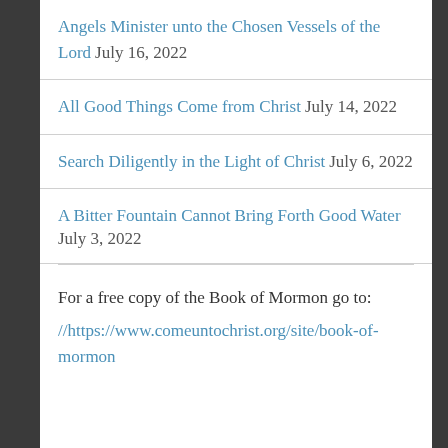Angels Minister unto the Chosen Vessels of the Lord July 16, 2022
All Good Things Come from Christ July 14, 2022
Search Diligently in the Light of Christ July 6, 2022
A Bitter Fountain Cannot Bring Forth Good Water July 3, 2022
For a free copy of the Book of Mormon go to: //https://www.comeuntochrist.org/site/book-of-mormon